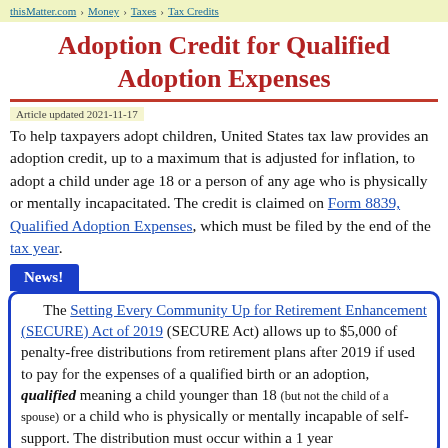thisMatter.com › Money › Taxes › Tax Credits
Adoption Credit for Qualified Adoption Expenses
Article updated 2021-11-17
To help taxpayers adopt children, United States tax law provides an adoption credit, up to a maximum that is adjusted for inflation, to adopt a child under age 18 or a person of any age who is physically or mentally incapacitated. The credit is claimed on Form 8839, Qualified Adoption Expenses, which must be filed by the end of the tax year.
News! The Setting Every Community Up for Retirement Enhancement (SECURE) Act of 2019 (SECURE Act) allows up to $5,000 of penalty-free distributions from retirement plans after 2019 if used to pay for the expenses of a qualified birth or an adoption, qualified meaning a child younger than 18 (but not the child of a spouse) or a child who is physically or mentally incapable of self-support. The distribution must occur within a 1 year...